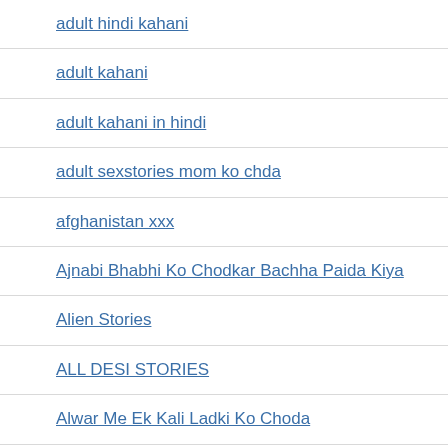adult hindi kahani
adult kahani
adult kahani in hindi
adult sexstories mom ko chda
afghanistan xxx
Ajnabi Bhabhi Ko Chodkar Bachha Paida Kiya
Alien Stories
ALL DESI STORIES
Alwar Me Ek Kali Ladki Ko Choda
Amarkantak Express Me Aunty Ki Chudai
Ami ki chudai ki kahani
Anal Stories
Animal Stories
Anjaan Vidhwa Ko Train Me Choda
Antarvasna